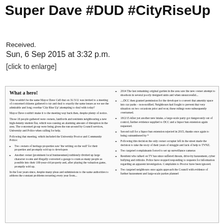Super Dave #DUD #CityRiseUp
Received.
Sun, 6 Sep 2015 at 3:32 p.m.
[click to enlarge]
[Figure (screenshot): Scanned document with two-column layout. Left column: 'What a hero!' heading followed by text about Mayor Dave Cull and a meeting on 31/3/11, bullet points about heritage properties, owner converting garage, and further text. Right column: bullet points about 2014 garden/developer incident, DCC permission, 18/2/15 party, liquor ban extension rejection, owner occupier decision, targeted complainants, resident harassment, and targeted neighbours.]